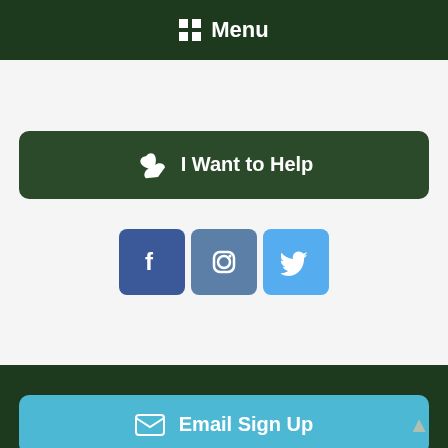Menu
I Want to Help
[Figure (infographic): Social media icons: Facebook, Instagram, Twitter]
Email Sign Up
Copyright © 2022 Maine Appalachian Trail Club • PO Box 7564 • Portland, ME 04112 • Email: info@matc.org | matcweb@matc.org